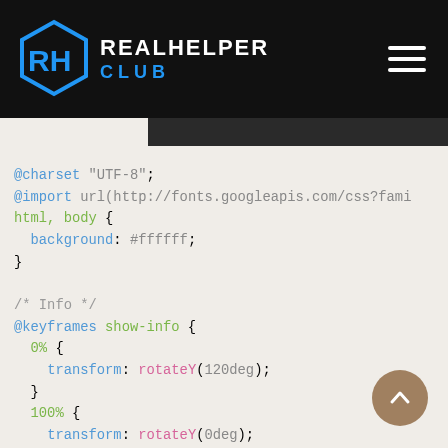REALHELPER CLUB
[Figure (screenshot): CSS code snippet showing @charset, @import, html body background rule, and @keyframes show-info animation with rotateY transforms]
[Figure (other): Scroll-to-top circular button with upward chevron]